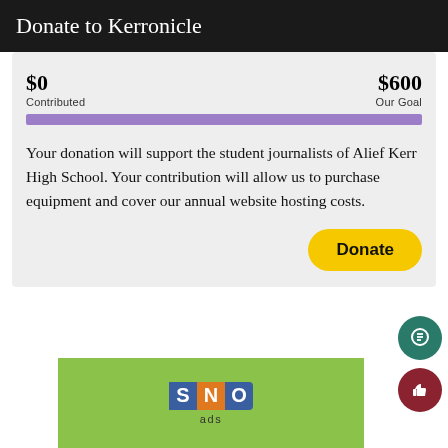Donate to Kerronicle
[Figure (infographic): Donation progress bar showing $0 contributed out of $600 goal, with a purple bar spanning the full width]
Your donation will support the student journalists of Alief Kerr High School. Your contribution will allow us to purchase equipment and cover our annual website hosting costs.
[Figure (logo): SNO ads logo on green background]